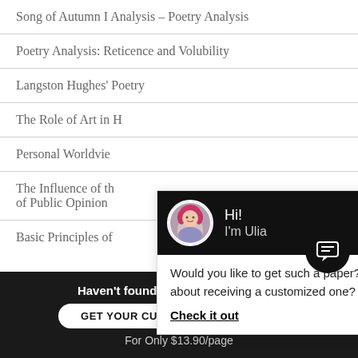Song of Autumn I Analysis – Poetry Analysis
Poetry Analysis: Reticence and Volubility
Langston Hughes' Poetry
The Role of Art in H...
Personal Worldvie...
The Influence of th... of Public Opinion
Basic Principles of ...
[Figure (screenshot): Chat popup overlay with avatar of a woman with pink/red hair. Header is black with 'Hi! I'm Ulia'. Body text: 'Would you like to get such a paper? How about receiving a customized one? Check it out']
Haven't found the Essay You Want?
GET YOUR CUSTOM ESSAY SAMPLE
For Only $13.90/page